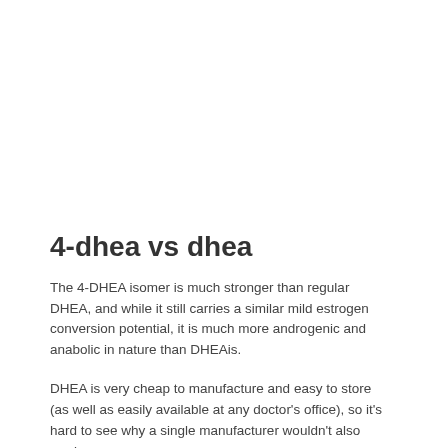4-dhea vs dhea
The 4-DHEA isomer is much stronger than regular DHEA, and while it still carries a similar mild estrogen conversion potential, it is much more androgenic and anabolic in nature than DHEAis.
DHEA is very cheap to manufacture and easy to store (as well as easily available at any doctor's office), so it's hard to see why a single manufacturer wouldn't also produce